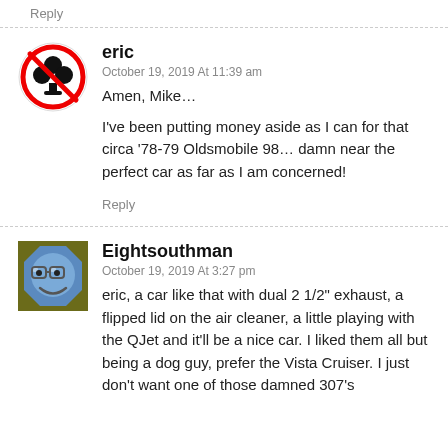Reply
[Figure (illustration): Avatar icon: red circle with diagonal slash over black club/clover symbol (no-club sign)]
eric
October 19, 2019 At 11:39 am
Amen, Mike…

I've been putting money aside as I can for that circa '78-79 Oldsmobile 98… damn near the perfect car as far as I am concerned!
Reply
[Figure (illustration): Avatar icon: cartoon robot/friendly face on blue octagon shape with glasses, on olive/dark yellow square background]
Eightsouthman
October 19, 2019 At 3:27 pm
eric, a car like that with dual 2 1/2" exhaust, a flipped lid on the air cleaner, a little playing with the QJet and it'll be a nice car. I liked them all but being a dog guy, prefer the Vista Cruiser. I just don't want one of those damned 307's